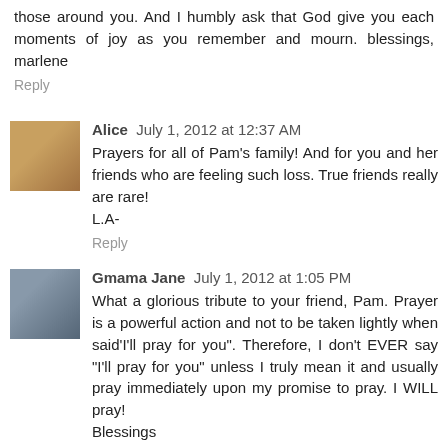those around you. And I humbly ask that God give you each moments of joy as you remember and mourn. blessings, marlene
Reply
Alice  July 1, 2012 at 12:37 AM
Prayers for all of Pam's family! And for you and her friends who are feeling such loss. True friends really are rare! L.A-
Reply
Gmama Jane  July 1, 2012 at 1:05 PM
What a glorious tribute to your friend, Pam. Prayer is a powerful action and not to be taken lightly when said'I'll pray for you". Therefore, I don't EVER say "I'll pray for you" unless I truly mean it and usually pray immediately upon my promise to pray. I WILL pray!
Blessings
Gmama Jane